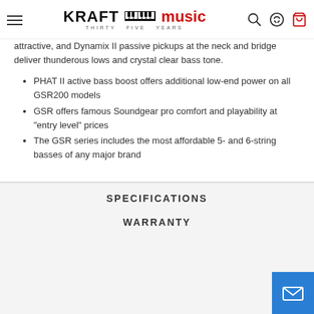Kraft Music — Thirty Five Years
attractive, and Dynamix II passive pickups at the neck and bridge deliver thunderous lows and crystal clear bass tone.
PHAT II active bass boost offers additional low-end power on all GSR200 models
GSR offers famous Soundgear pro comfort and playability at "entry level" prices
The GSR series includes the most affordable 5- and 6-string basses of any major brand
SPECIFICATIONS
WARRANTY